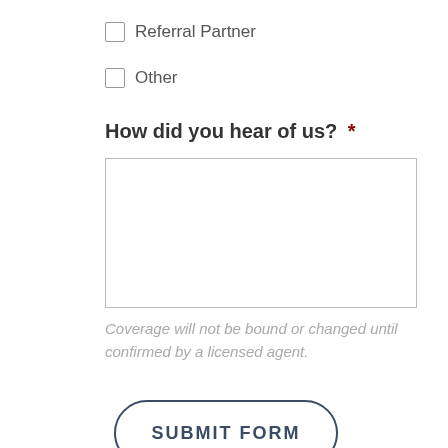Referral Partner
Other
How did you hear of us? *
Coverage will not be bound or changed until confirmed by a licensed agent.
SUBMIT FORM